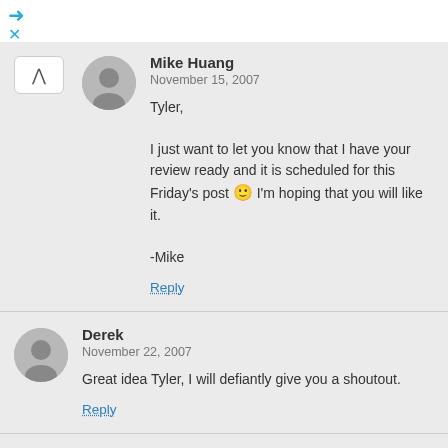Mike Huang
November 15, 2007

Tyler,

I just want to let you know that I have your review ready and it is scheduled for this Friday's post 🙂 I'm hoping that you will like it.

-Mike

Reply
Derek
November 22, 2007

Great idea Tyler, I will defiantly give you a shoutout.

Reply